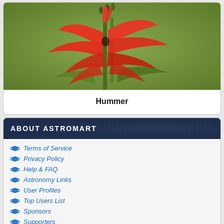[Figure (photo): Close-up photo of red/orange tropical flowers (canna lily type) against a green background]
Hummer
ABOUT ASTROMART
Terms of Service
Privacy Policy
Help & FAQ
Astronomy Links
User Profiles
Top Users List
Sponsors
Supporters